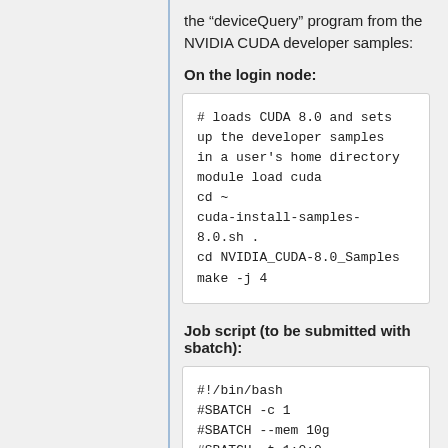the "deviceQuery" program from the NVIDIA CUDA developer samples:
On the login node:
# loads CUDA 8.0 and sets
up the developer samples
in a user's home directory
module load cuda
cd ~
cuda-install-samples-
8.0.sh .
cd NVIDIA_CUDA-8.0_Samples
make -j 4
Job script (to be submitted with sbatch):
#!/bin/bash
#SBATCH -c 1
#SBATCH --mem 10g
#SBATCH -t 1:0:0